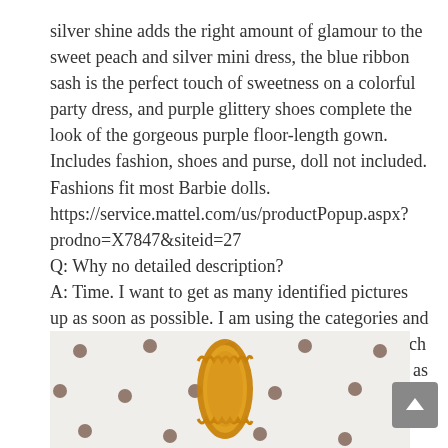silver shine adds the right amount of glamour to the sweet peach and silver mini dress, the blue ribbon sash is the perfect touch of sweetness on a colorful party dress, and purple glittery shoes complete the look of the gorgeous purple floor-length gown. Includes fashion, shoes and purse, doll not included. Fashions fit most Barbie dolls. https://service.mattel.com/us/productPopup.aspx?prodno=X7847&siteid=27
Q: Why no detailed description?
A: Time. I want to get as many identified pictures up as soon as possible. I am using the categories and tags as keywords that show up at the bottom of each page. This will make searching by keywords such as pink, skirt, boots, plaid etc. productive even when I don't have time to write a full description. If there is a description on barbie.mattel.com or service.mattel.com I will include that.
[Figure (photo): Close-up photo of a small amber/gold colored Barbie shoe/sandal on a white dotted fabric background]